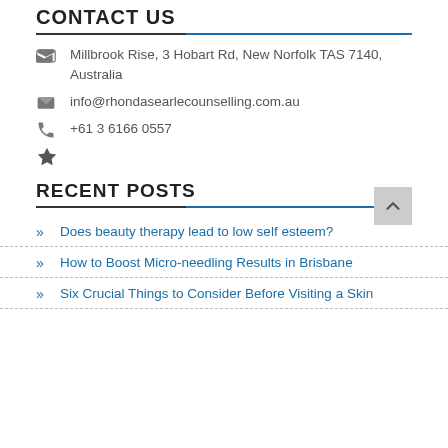CONTACT US
Millbrook Rise, 3 Hobart Rd, New Norfolk TAS 7140, Australia
info@rhondasearlecounselling.com.au
+61 3 6166 0557
RECENT POSTS
Does beauty therapy lead to low self esteem?
How to Boost Micro-needling Results in Brisbane
Six Crucial Things to Consider Before Visiting a Skin